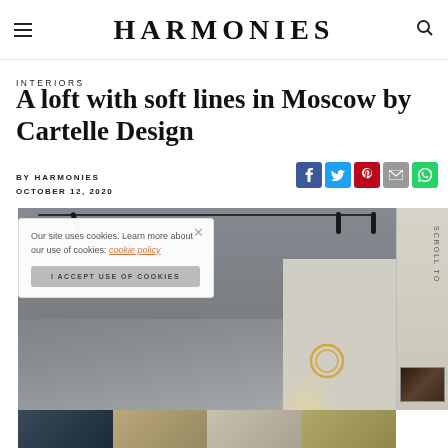HARMONIES
INTERIORS
A loft with soft lines in Moscow by Cartelle Design
BY HARMONIES
OCTOBER 12, 2020
[Figure (screenshot): Interior photo of a loft with industrial ceiling and track lighting]
Our site uses cookies. Learn more about our use of cookies: cookie policy
I ACCEPT USE OF COOKIES